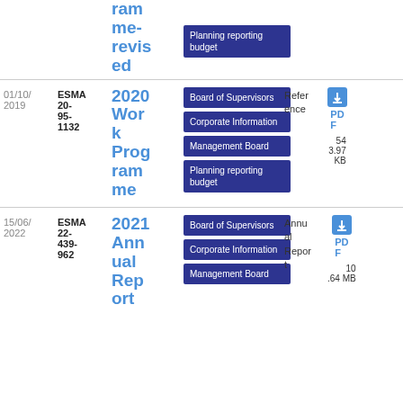| Date | Reference | Title | Tags | Description | Download | Size |
| --- | --- | --- | --- | --- | --- | --- |
|  |  | ramme-revised | Planning reporting budget |  |  |  |
| 01/10/2019 | ESMA 20-95-1132 | 2020 Work Programme | Board of Supervisors, Corporate Information, Management Board, Planning reporting budget | Reference | PDF | 543.97 KB |
| 15/06/2022 | ESMA 22-439-962 | 2021 Annual Report | Board of Supervisors, Corporate Information, Management Board | Annual Report | PDF | 10.64 MB |